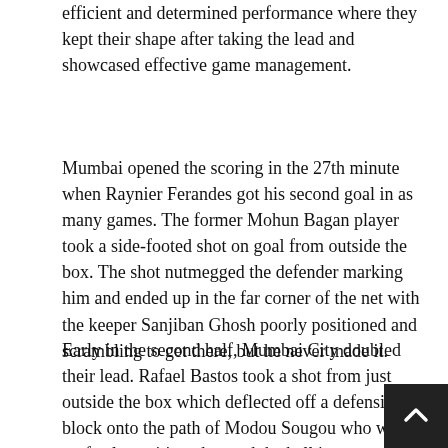efficient and determined performance where they kept their shape after taking the lead and showcased effective game management.
Mumbai opened the scoring in the 27th minute when Raynier Ferandes got his second goal in as many games. The former Mohun Bagan player took a side-footed shot on goal from outside the box. The shot nutmegged the defender marking him and ended up in the far corner of the net with the keeper Sanjiban Ghosh poorly positioned and scrambling to get there, but he never made it.
Early in the second half, Mumbai City doubled their lead. Rafael Bastos took a shot from just outside the box which deflected off a defensive block onto the path of Modou Sougou who was perfectly positioned to nod the ball in.